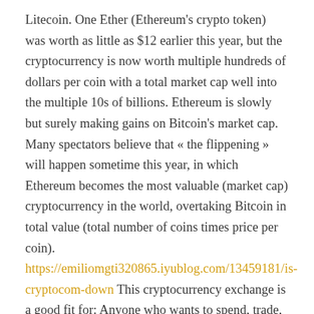Litecoin. One Ether (Ethereum's crypto token) was worth as little as $12 earlier this year, but the cryptocurrency is now worth multiple hundreds of dollars per coin with a total market cap well into the multiple 10s of billions. Ethereum is slowly but surely making gains on Bitcoin's market cap. Many spectators believe that « the flippening » will happen sometime this year, in which Ethereum becomes the most valuable (market cap) cryptocurrency in the world, overtaking Bitcoin in total value (total number of coins times price per coin). https://emiliomgti320865.iyublog.com/13459181/is-cryptocom-down This cryptocurrency exchange is a good fit for: Anyone who wants to spend, trade, store, and save cryptocurrencies, especially Crypto.com's utility token, Cronos. This all-inclusive exchange lets you buy, sell, and trade a